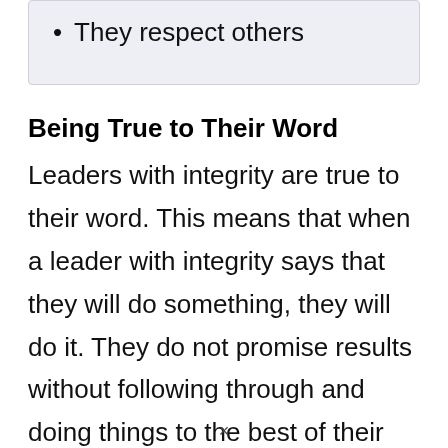They respect others
Being True to Their Word
Leaders with integrity are true to their word. This means that when a leader with integrity says that they will do something, they will do it. They do not promise results without following through and doing things to the best of their abilities.
×